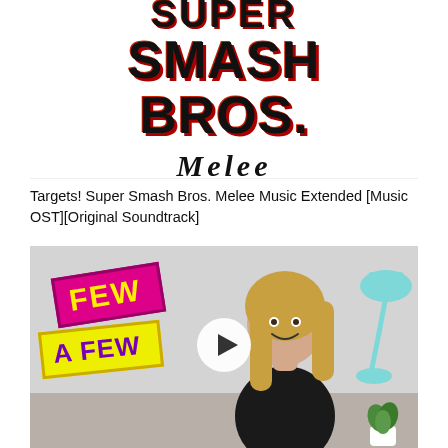[Figure (screenshot): Super Smash Bros. Melee logo thumbnail showing the game title in bold red/black stylized text with 'Melee' in italic serif below]
Targets! Super Smash Bros. Melee Music Extended [Music OST][Original Soundtrack]
[Figure (screenshot): Video thumbnail showing a woman making a peace sign gesture, with colorful text badges reading 'FEW' on a pink background and 'A FEW' on a yellow background, a teal desk lamp in the background, and a white play button overlay in the center]